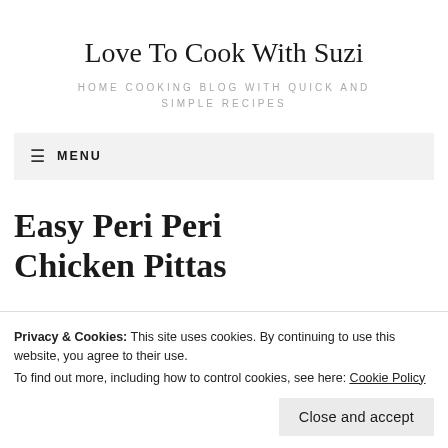Love To Cook With Suzi
HOME COOKING BLOG WITH QUICK AND SIMPLE RECIPES
≡  MENU
Easy Peri Peri Chicken Pittas
Privacy & Cookies: This site uses cookies. By continuing to use this website, you agree to their use.
To find out more, including how to control cookies, see here: Cookie Policy
Close and accept